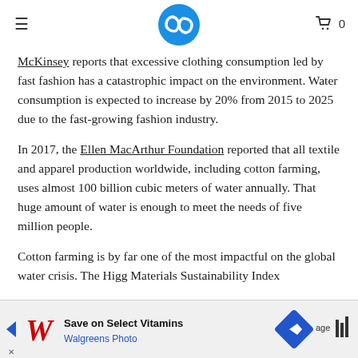≡  [logo]  🛒 0
McKinsey reports that excessive clothing consumption led by fast fashion has a catastrophic impact on the environment. Water consumption is expected to increase by 20% from 2015 to 2025 due to the fast-growing fashion industry.
In 2017, the Ellen MacArthur Foundation reported that all textile and apparel production worldwide, including cotton farming, uses almost 100 billion cubic meters of water annually. That huge amount of water is enough to meet the needs of five million people.
Cotton farming is by far one of the most impactful on the global water crisis. The Higg Materials Sustainability Index (M... ager...ter ($4...